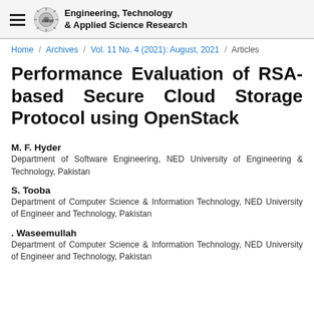Engineering, Technology & Applied Science Research
Home / Archives / Vol. 11 No. 4 (2021): August, 2021 / Articles
Performance Evaluation of RSA-based Secure Cloud Storage Protocol using OpenStack
M. F. Hyder
Department of Software Engineering, NED University of Engineering & Technology, Pakistan
S. Tooba
Department of Computer Science & Information Technology, NED University of Engineer and Technology, Pakistan
. Waseemullah
Department of Computer Science & Information Technology, NED University of Engineer and Technology, Pakistan